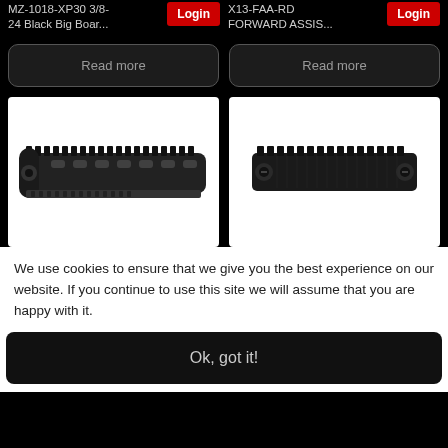MZ-1018-XP30 3/8-24 Black Big Boar...
Login
X13-FAA-RD FORWARD ASSIS...
Login
Read more
Read more
[Figure (photo): Black AR-style handguard/rail system with KeyMod/M-LOK slots, photographed on white background]
[Figure (photo): Black Picatinny rail section accessory, photographed on white background]
We use cookies to ensure that we give you the best experience on our website. If you continue to use this site we will assume that you are happy with it.
Ok, got it!